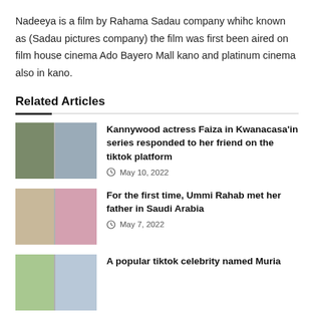Nadeeya is a film by Rahama Sadau company whihc known as (Sadau pictures company) the film was first been aired on film house cinema Ado Bayero Mall kano and platinum cinema also in kano.
Related Articles
[Figure (photo): Two photos side by side: left shows a woman in hijab, right shows a woman in a purple headwrap]
Kannywood actress Faiza in Kwanacasa'in series responded to her friend on the tiktok platform
May 10, 2022
[Figure (photo): Two photos side by side: left shows a woman smiling, right shows a decorative image]
For the first time, Ummi Rahab met her father in Saudi Arabia
May 7, 2022
[Figure (photo): Two photos side by side: partial view at bottom of page]
A popular tiktok celebrity named Muria